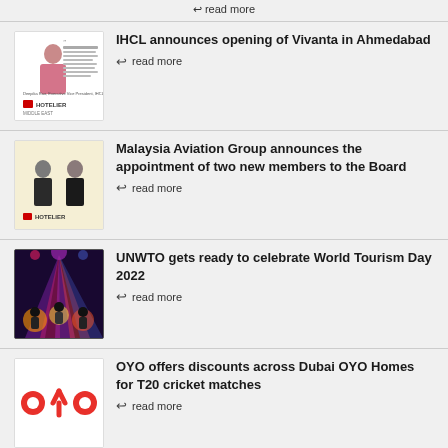read more
[Figure (photo): IHCL Hotelier article thumbnail with woman in pink saree and text]
IHCL announces opening of Vivanta in Ahmedabad
read more
[Figure (photo): Malaysia Aviation Group two new board members photo on beige background with Hotelier logo]
Malaysia Aviation Group announces the appointment of two new members to the Board
read more
[Figure (photo): UNWTO colorful stage performance event photo]
UNWTO gets ready to celebrate World Tourism Day 2022
read more
[Figure (logo): OYO red brand logo on white background]
OYO offers discounts across Dubai OYO Homes for T20 cricket matches
read more